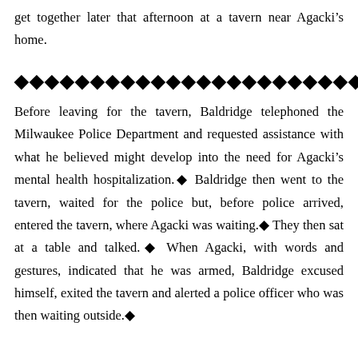get together later that afternoon at a tavern near Agackis home.
◆◆◆◆◆◆◆◆◆◆◆◆◆◆◆◆◆◆◆◆◆◆◆◆
Before leaving for the tavern, Baldridge telephoned the Milwaukee Police Department and requested assistance with what he believed might develop into the need for Agackis mental health hospitalization. Baldridge then went to the tavern, waited for the police but, before police arrived, entered the tavern, where Agacki was waiting. They then sat at a table and talked. When Agacki, with words and gestures, indicated that he was armed, Baldridge excused himself, exited the tavern and alerted a police officer who was then waiting outside.